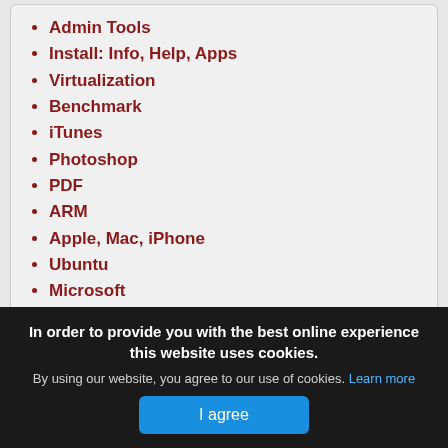Admin Tools
Install: Info, Help, Apps
Virtualization
Benchmark
iTunes
Photoshop
PDF
ARM
Apple, Mac, iPhone
Ubuntu
Microsoft
[Figure (logo): App icon: dark rounded square with a planet/globe and lightning bolt logo]
In order to provide you with the best online experience this website uses cookies.
By using our website, you agree to our use of cookies. Learn more
I agree